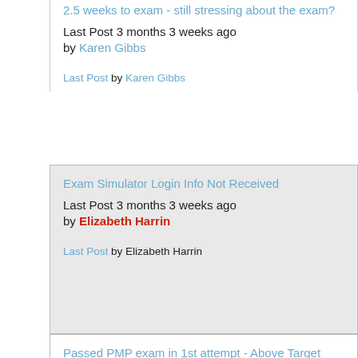2.5 weeks to exam - still stressing about the exam?
Last Post 3 months 3 weeks ago
by Karen Gibbs
Last Post by Karen Gibbs
Exam Simulator Login Info Not Received
Last Post 3 months 3 weeks ago
by Elizabeth Harrin
Last Post by Elizabeth Harrin
Passed PMP exam in 1st attempt - Above Target
Last Post 3 months 3 weeks ago
by Elizabeth Harrin